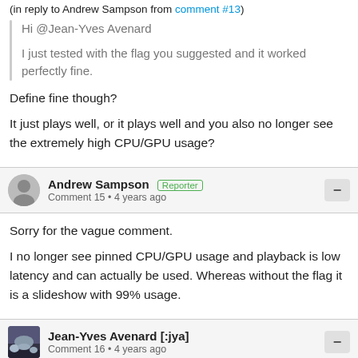(in reply to Andrew Sampson from comment #13)
Hi @Jean-Yves Avenard

I just tested with the flag you suggested and it worked perfectly fine.
Define fine though?
It just plays well, or it plays well and you also no longer see the extremely high CPU/GPU usage?
Andrew Sampson Reporter
Comment 15 • 4 years ago
Sorry for the vague comment.

I no longer see pinned CPU/GPU usage and playback is low latency and can actually be used. Whereas without the flag it is a slideshow with 99% usage.
Jean-Yves Avenard [:jya]
Comment 16 • 4 years ago